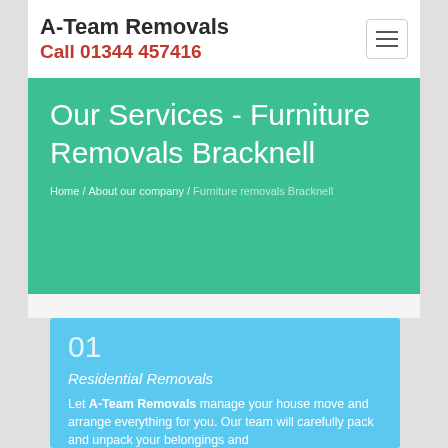A-Team Removals
Call 01344 457416
Our Services - Furniture Removals Bracknell
Home / About our company / Furniture removals Bracknell
01
Residential Removals
Let A-Team Removals manage your house move and arrange everything for you. Our team will carefully pack and unpack your belongings and